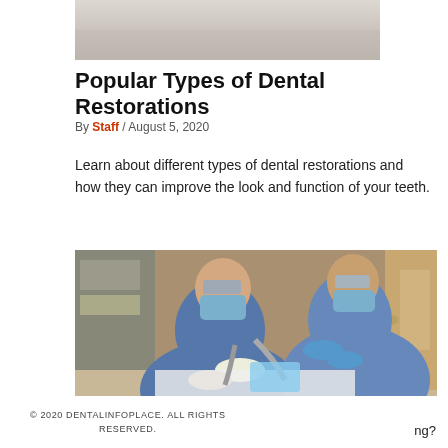[Figure (photo): Top partial image showing a light-colored blurry background, appears to be a dental or medical setting]
Popular Types of Dental Restorations
By Staff / August 5, 2020
Learn about different types of dental restorations and how they can improve the look and function of your teeth.
[Figure (photo): Two dental professionals in blue scrubs and masks working on a patient in a dental office]
© 2020 DENTALINFOPLACE. ALL RIGHTS RESERVED.